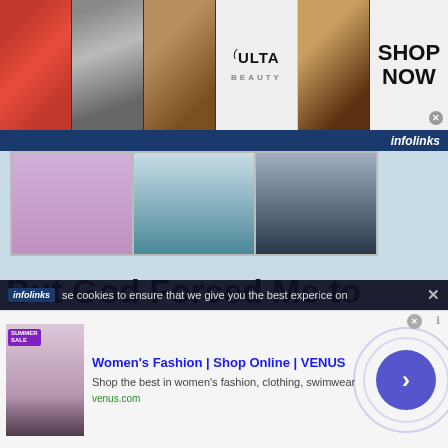[Figure (screenshot): Top banner advertisement for ULTA Beauty showing makeup images (lips, brush, eye), ULTA Beauty logo, dramatic eye makeup, and 'SHOP NOW' call to action with infolinks branding bar below]
[Figure (screenshot): Fashion/scrubs clothing advertisement strip showing three figures in purple, teal, and navy outfits]
But God Forced Me to Reincarnate 31
[Figure (screenshot): Black video player overlay with loading spinner and close X button]
Getting used to longer cha
[Figure (screenshot): BELK advertisement: 'BELK' in blue bold text, 'Step out in style.' tagline]
We use cookies to ensure that we give you the best experience on
[Figure (screenshot): Venus women's fashion ad: thumbnail of sale image, title 'Women's Fashion | Shop Online | VENUS', subtitle 'Shop the best in women's fashion, clothing, swimwear', URL 'venus.com', purple arrow button]